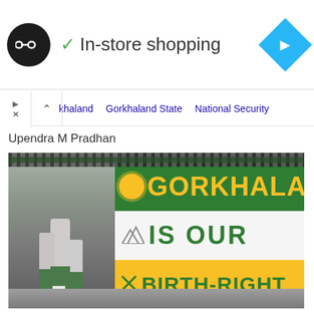[Figure (screenshot): In-store shopping ad banner with dark circular logo with infinity symbol, green checkmark, text 'In-store shopping', and blue navigation diamond icon on right]
khaland   Gorkhaland State   National Security
Upendra M Pradhan
[Figure (photo): Photograph showing students in school uniforms standing near a painted wall sign reading 'GORKHALAN IS OUR BIRTH-RIGHT' in yellow and green colors with sun and mountains symbols. The sign has green, white, and yellow horizontal bands.]